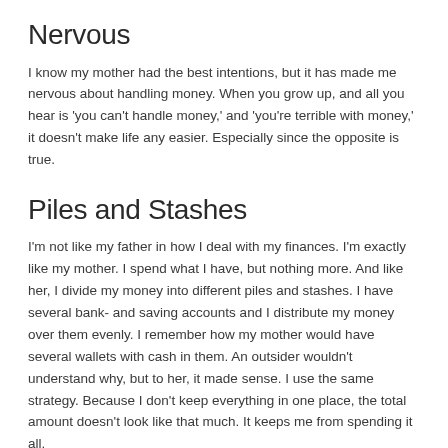Nervous
I know my mother had the best intentions, but it has made me nervous about handling money. When you grow up, and all you hear is 'you can't handle money,' and 'you're terrible with money,' it doesn't make life any easier. Especially since the opposite is true.
Piles and Stashes
I'm not like my father in how I deal with my finances. I'm exactly like my mother. I spend what I have, but nothing more. And like her, I divide my money into different piles and stashes. I have several bank- and saving accounts and I distribute my money over them evenly. I remember how my mother would have several wallets with cash in them. An outsider wouldn't understand why, but to her, it made sense. I use the same strategy. Because I don't keep everything in one place, the total amount doesn't look like that much. It keeps me from spending it all.